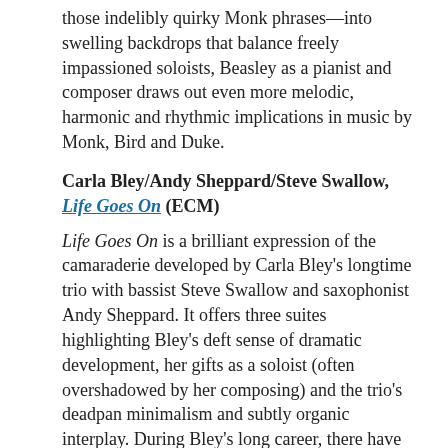those indelibly quirky Monk phrases—into swelling backdrops that balance freely impassioned soloists, Beasley as a pianist and composer draws out even more melodic, harmonic and rhythmic implications in music by Monk, Bird and Duke.
Carla Bley/Andy Sheppard/Steve Swallow, Life Goes On (ECM)
Life Goes On is a brilliant expression of the camaraderie developed by Carla Bley's longtime trio with bassist Steve Swallow and saxophonist Andy Sheppard. It offers three suites highlighting Bley's deft sense of dramatic development, her gifts as a soloist (often overshadowed by her composing) and the trio's deadpan minimalism and subtly organic interplay. During Bley's long career, there have been times when her work has merely seemed smart, but not emotionally resonant. Here, it's both.
Bill Frisell, Valentine (Blue Note)
“Playing together” is a phrase so commonplace it’s easy to forget what it signifies. Of course, there’s the obvious: making music with others, performing as an ensemble, being creative